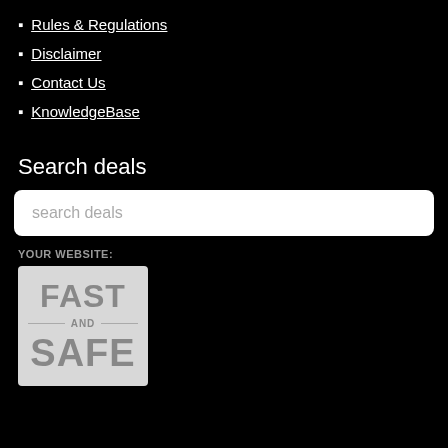Rules & Regulations
Disclaimer
Contact Us
KnowledgeBase
Search deals
search deals
YOUR WEBSITE:
[Figure (infographic): Badge with text FAST AND SAFE on a light grey rounded rectangle background]